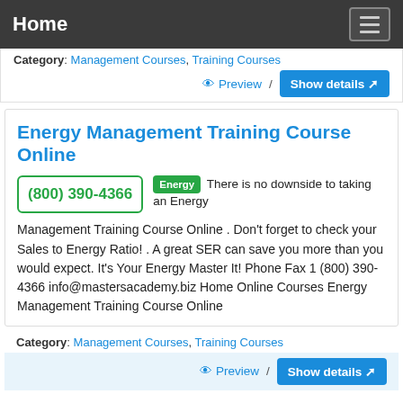Home
Category: Management Courses, Training Courses
Preview / Show details
Energy Management Training Course Online
(800) 390-4366
Energy There is no downside to taking an Energy Management Training Course Online . Don't forget to check your Sales to Energy Ratio! . A great SER can save you more than you would expect. It's Your Energy Master It! Phone Fax 1 (800) 390-4366 info@mastersacademy.biz Home Online Courses Energy Management Training Course Online
Category: Management Courses, Training Courses
Preview / Show details